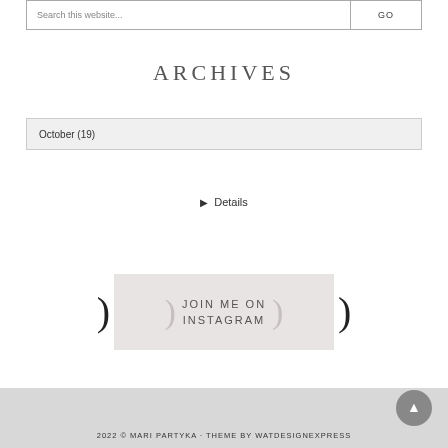Search this website...
GO
ARCHIVES
October (19)
▶ Details
JOIN ME ON INSTAGRAM
2022 © MARI PARTYKA · THEME BY WATDESIGNEXPRESS